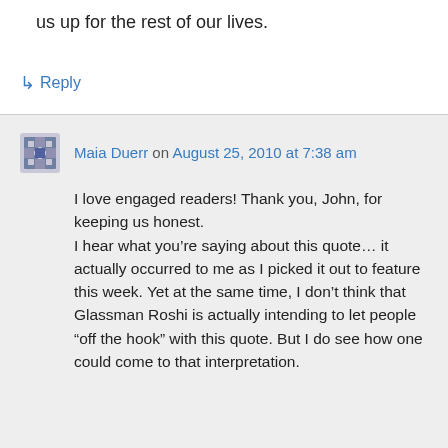us up for the rest of our lives.
↳ Reply
Maia Duerr on August 25, 2010 at 7:38 am
I love engaged readers! Thank you, John, for keeping us honest.
I hear what you’re saying about this quote… it actually occurred to me as I picked it out to feature this week. Yet at the same time, I don’t think that Glassman Roshi is actually intending to let people “off the hook” with this quote. But I do see how one could come to that interpretation.